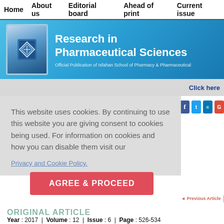Home   About us   Editorial board   Ahead of print   Current issue
[Figure (logo): Research in Pharmaceutical Sciences journal logo - decorative geometric emblem on blue background]
Research in Pharmaceutical Sciences
Official Publication of Isfahan School of Pharmacy & Pharmaceutical
Click here
This website uses cookies. By continuing to use this website you are giving consent to cookies being used. For information on cookies and how you can disable them visit our
Privacy and Cookie Policy.
AGREE & PROCEED
◄ Previous Article   ToC   Ne
ORIGINAL ARTICLE
Year : 2017  |  Volume : 12  |  Issue : 6  |  Page : 526-534